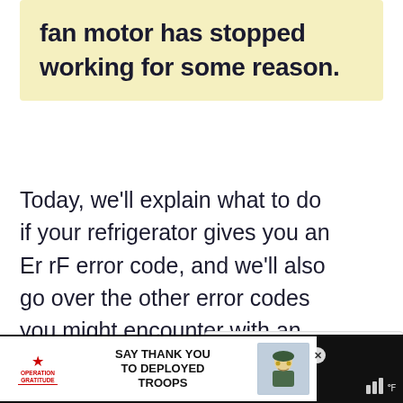fan motor has stopped working for some reason.
Today, we'll explain what to do if your refrigerator gives you an Er rF error code, and we'll also go over the other error codes you might encounter with an LG refrigerator and what they mea…
[Figure (screenshot): UI overlay elements: heart/like button with count 20, share button, up-arrow navigation button, What's Next panel showing LG Refrigerator Error Code E...]
[Figure (screenshot): Advertisement banner: Operation Gratitude - Say Thank You to Deployed Troops, with illustrated soldier character, close button, and weather widget]